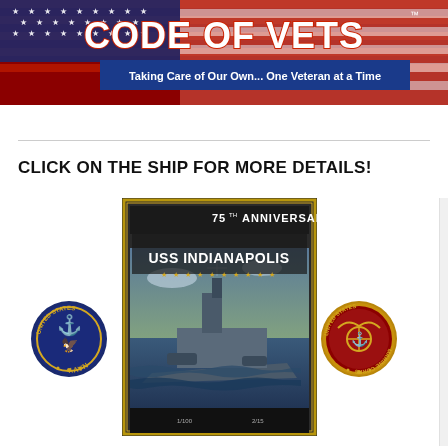[Figure (illustration): Code of Vets banner with American flag background, red and white 'CODE OF VETS' text with stars, and blue banner reading 'Taking Care of Our Own... One Veteran at a Time']
CLICK ON THE SHIP FOR MORE DETAILS!
[Figure (illustration): 75th Anniversary USS Indianapolis poster with dark background, stylized warship art sailing through waves, gold border frame, and text '75TH ANNIVERSARY' at top and 'USS INDIANAPOLIS' in the middle]
[Figure (logo): United States Navy circular seal/emblem with gold and blue colors, eagle and anchor motif]
[Figure (logo): United States Marine Corps circular seal/emblem with red and gold colors, globe and anchor motif]